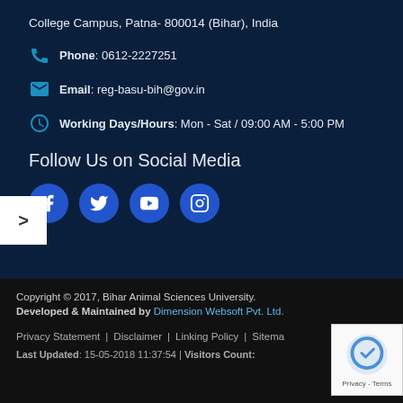College Campus, Patna- 800014 (Bihar), India
Phone: 0612-2227251
Email: reg-basu-bih@gov.in
Working Days/Hours: Mon - Sat / 09:00 AM - 5:00 PM
Follow Us on Social Media
[Figure (illustration): Social media icon buttons: Facebook, Twitter, YouTube, Instagram]
Copyright © 2017, Bihar Animal Sciences University. Developed & Maintained by Dimension Websoft Pvt. Ltd.
Privacy Statement | Disclaimer | Linking Policy | Sitemap
Last Updated: 15-05-2018 11:37:54 | Visitors Count: